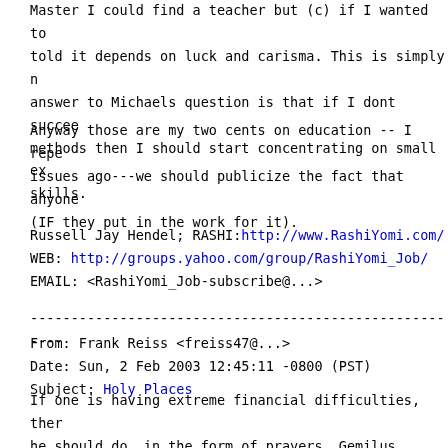Master I could find a teacher but (c) if I wanted to told it depends on luck and carisma. This is simply n answer to Michaels question is that if I dont succee methods then I should start concentrating on small ex skills.
Anyway those are my two cents on education -- I repe issues ago---we should publicize the fact that anyone (IF they put in the work for it).
Russell Jay Hendel; RASHI:http://www.RashiYomi.com/
WEB:   http://groups.yahoo.com/group/RashiYomi_Job/
EMAIL: <RashiYomi_Job-subscribe@...>
------------------------------------------------------------------------
From: Frank Reiss <freiss47@...>
Date: Sun, 2 Feb 2003 12:45:11 -0800 (PST)
Subject: Holy Places
If one is having extreme financial difficulties, ther he should do, in the form of prayers, Gemilus Chesse visiting holy places? For example, If I could go now, Kotel.  Many do this. The obvious reasons are that th the Beis Hamikdash, so it is a designated holy place. usually Kivrei Tzadikim. In America, one could visit
In my experiece, I have found a place that I go to o while, when I am in need of some kind of special daye